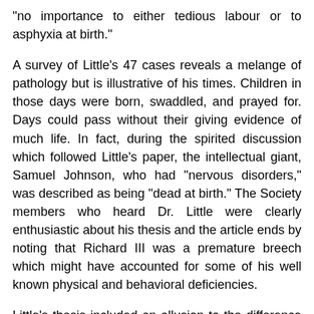"no importance to either tedious labour or to asphyxia at birth."
A survey of Little's 47 cases reveals a melange of pathology but is illustrative of his times. Children in those days were born, swaddled, and prayed for. Days could pass without their giving evidence of much life. In fact, during the spirited discussion which followed Little's paper, the intellectual giant, Samuel Johnson, who had "nervous disorders," was described as being "dead at birth." The Society members who heard Dr. Little were clearly enthusiastic about his thesis and the article ends by noting that Richard III was a premature breech which might have accounted for some of his well known physical and behavioral deficiencies.
Little's thesis included an allusion to the difference between asphyxia pallida and asphyxia livida with the former the much more ominous event. Most interesting from the historical perspective is his observation that "it is obvious that the great majority of apparently stillborn infants whose lives are saved by the attendant